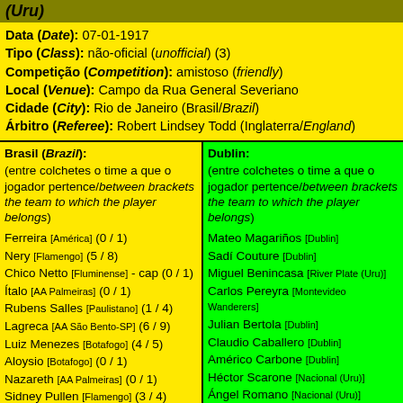(Uru)
Data (Date): 07-01-1917
Tipo (Class): não-oficial (unofficial) (3)
Competição (Competition): amistoso (friendly)
Local (Venue): Campo da Rua General Severiano
Cidade (City): Rio de Janeiro (Brasil/Brazil)
Árbitro (Referee): Robert Lindsey Todd (Inglaterra/England)
| Brasil (Brazil) | Dublin |
| --- | --- |
| (entre colchetes o time a que o jogador pertence/between brackets the team to which the player belongs) | (entre colchetes o time a que o jogador pertence/between brackets the team to which the player belongs) |
| Ferreira [América] (0 / 1) | Mateo Magariños [Dublin] |
| Nery [Flamengo] (5 / 8) | Sadí Couture [Dublin] |
| Chico Netto [Fluminense] - cap (0 / 1) | Miguel Benincasa [River Plate (Uru)] |
| Ítalo [AA Palmeiras] (0 / 1) | Carlos Pereyra [Montevideo Wanderers] |
| Rubens Salles [Paulistano] (1 / 4) | Julian Bertola [Dublin] |
| Lagreca [AA São Bento-SP] (6 / 9) | Claudio Caballero [Dublin] |
| Luiz Menezes [Botafogo] (4 / 5) | Américo Carbone [Dublin] |
| Aloysio [Botafogo] (0 / 1) | Héctor Scarone [Nacional (Uru)] |
| Nazareth [AA Palmeiras] (0 / 1) | Ángel Romano [Nacional (Uru)] |
| Sidney Pullen [Flamengo] (3 / 4) | Exequiel González [Dublin] |
| Benedicto I [Bangu] (0 / 1) |  |